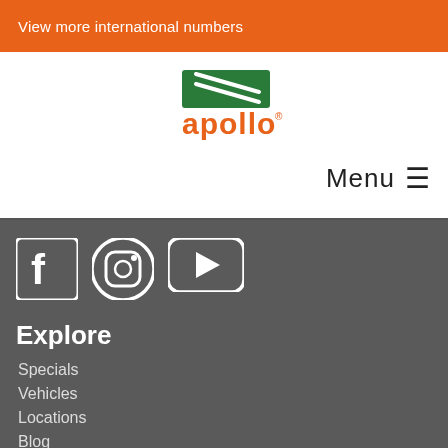View more international numbers
[Figure (logo): Apollo motorhome rentals logo with green shape and orange text]
Menu ≡
[Figure (infographic): Social media icons: Facebook, Instagram, YouTube]
Explore
Specials
Vehicles
Locations
Blog